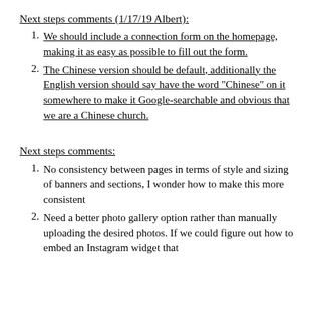Next steps comments (1/17/19 Albert):
We should include a connection form on the homepage, making it as easy as possible to fill out the form.
The Chinese version should be default, additionally the English version should say have the word "Chinese" on it somewhere to make it Google-searchable and obvious that we are a Chinese church.
Next steps comments:
No consistency between pages in terms of style and sizing of banners and sections, I wonder how to make this more consistent
Need a better photo gallery option rather than manually uploading the desired photos.  If we could figure out how to embed an Instagram widget that